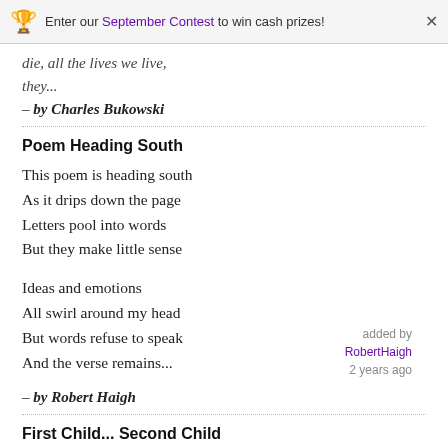Enter our September Contest to win cash prizes!
die, all the lives we live,
they...
– by Charles Bukowski
Poem Heading South
This poem is heading south
As it drips down the page
Letters pool into words
But they make little sense
Ideas and emotions
All swirl around my head
But words refuse to speak
And the verse remains...
added by
RobertHaigh
2 years ago
– by Robert Haigh
First Child... Second Child